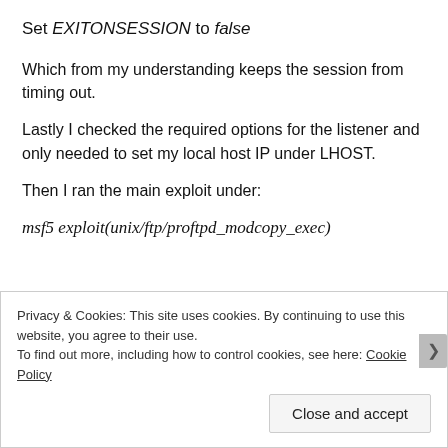Set EXITONSESSION to false
Which from my understanding keeps the session from timing out.
Lastly I checked the required options for the listener and only needed to set my local host IP under LHOST.
Then I ran the main exploit under:
msf5 exploit(unix/ftp/proftpd_modcopy_exec)
Privacy & Cookies: This site uses cookies. By continuing to use this website, you agree to their use.
To find out more, including how to control cookies, see here: Cookie Policy